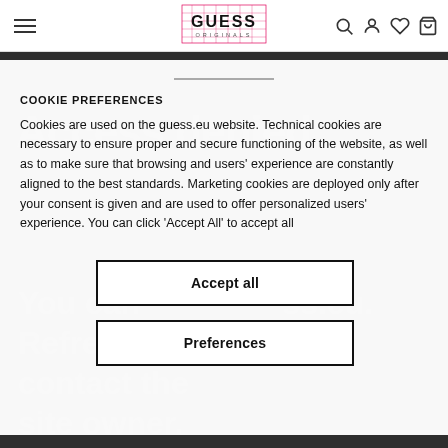GUESS Originals navigation bar with hamburger menu, logo, search, account, wishlist, and cart icons
COOKIE PREFERENCES
Cookies are used on the guess.eu website. Technical cookies are necessary to ensure proper and secure functioning of the website, as well as to make sure that browsing and users' experience are constantly aligned to the best standards. Marketing cookies are deployed only after your consent is given and are used to offer personalized users' experience. You can click 'Accept All' to accept all
Accept all
Preferences